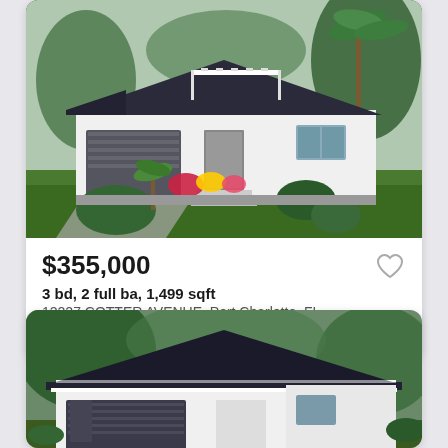[Figure (photo): Rendered exterior photo of a modern single-story white house with dark roof, two-car garage, tropical landscaping and palm trees]
$355,000
3 bd, 2 full ba, 1,499 sqft
12227 COTTER AVENUE, Port Charlotte, FL
Courtesy of KELLER WILLIAMS REALT...
[Figure (photo): Rendered exterior photo of a modern single-story white house with dark flat/hip roof and two-car garage, tropical setting]